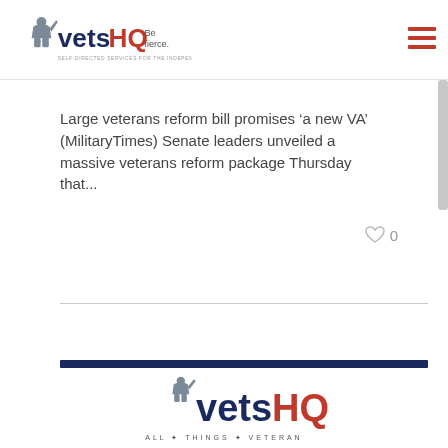vetsHQ Be fierce. SELF-DIRECTED SERVICES FOR THE INDEPENDENT WARRIOR
Large veterans reform bill promises ‘a new VA’ (MilitaryTimes) Senate leaders unveiled a massive veterans reform package Thursday that...
[Figure (logo): vetsHQ ALL THINGS VETERAN logo at bottom of page]